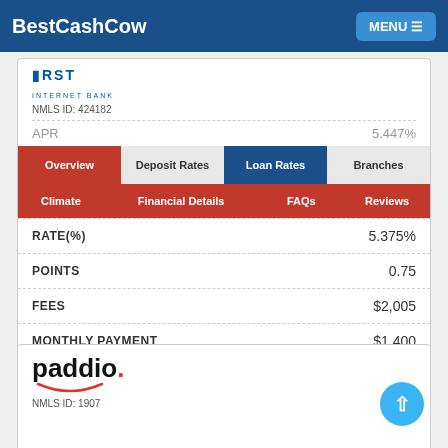BestCashCow  MENU
[Figure (logo): First Internet Bank logo with blue text]
NMLS ID: 424182
5.447%
[Figure (screenshot): Navigation tabs: Overview (red, active), Deposit Rates, Loan Rates (blue), Branches]
|  |  |
| --- | --- |
| RATE(%) | 5.375% |
| POINTS | 0.75 |
| FEES | $2,005 |
| MONTHLY PAYMENT | $1,400 |
[Figure (screenshot): Sub-navigation bar: Climate, Financial Details, FAQs, Reviews]
Learn More
[Figure (logo): Paddio logo with red dot and smile]
NMLS ID: 1907